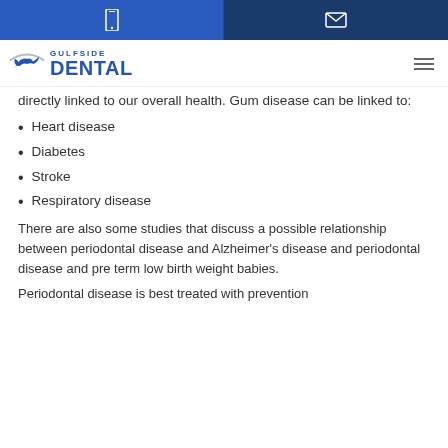Gulfside Dental - header navigation bar with phone and email icons
[Figure (logo): Gulfside Dental logo with bird and text]
directly linked to our overall health. Gum disease can be linked to:
Heart disease
Diabetes
Stroke
Respiratory disease
There are also some studies that discuss a possible relationship between periodontal disease and Alzheimer’s disease and periodontal disease and pre term low birth weight babies.
Periodontal disease is best treated with prevention